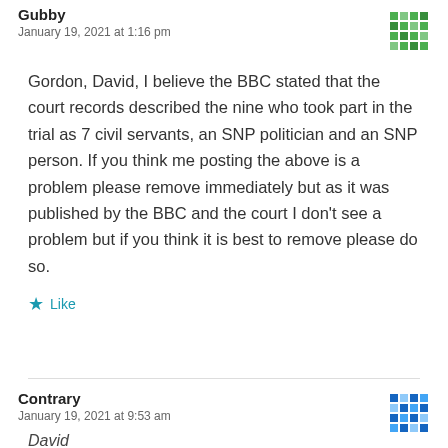Gubby
January 19, 2021 at 1:16 pm
Gordon, David, I believe the BBC stated that the court records described the nine who took part in the trial as 7 civil servants, an SNP politician and an SNP person. If you think me posting the above is a problem please remove immediately but as it was published by the BBC and the court I don't see a problem but if you think it is best to remove please do so.
Like
Contrary
January 19, 2021 at 9:53 am
David